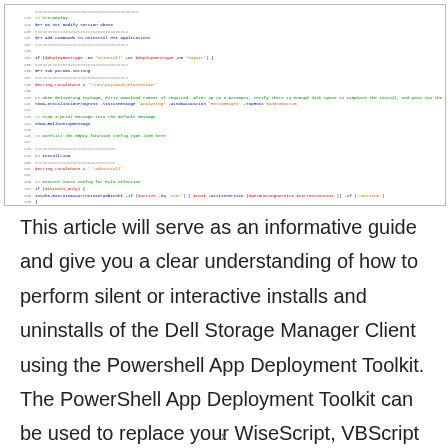[Figure (screenshot): Screenshot of PowerShell script code with line numbers, showing colored syntax highlighting (green for comments, blue/red for variables, orange for strings). Code relates to Dell Storage Manager installation logic using PowerShell App Deployment Toolkit.]
This article will serve as an informative guide and give you a clear understanding of how to perform silent or interactive installs and uninstalls of the Dell Storage Manager Client using the Powershell App Deployment Toolkit. The PowerShell App Deployment Toolkit can be used to replace your WiseScript, VBScript and Batch
x